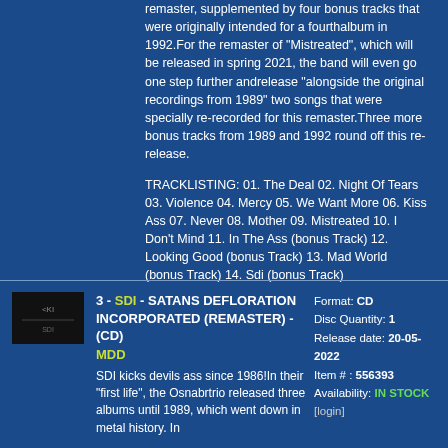remaster, supplemented by four bonus tracks that were originally intended for a fourthalbum in 1992.For the remaster of "Mistreated", which will be released in spring 2021, the band will even go one step further andrelease "alongside the original recordings from 1989" two songs that were specially re-recorded for this remaster.Three more bonus tracks from 1989 and 1992 round off this re-release.
TRACKLISTING: 01. The Deal 02. Night Of Tears 03. Violence 04. Mercy 05. We Want More 06. Kiss Ass 07. Never 08. Mother 09. Mistreated 10. I Don't Mind 11. In The Ass (bonus Track) 12. Looking Good (bonus Track) 13. Mad World (bonus Track) 14. Sdi (bonus Track)
3 - SDI - SATANS DEFLORATION INCORPORATED (REMASTER) - (CD)
MDD
SDI kicks devils ass since 1986!In their "first life", the Osnabrtrio released three albums until 1989, which went down in metal history. In
Format: CD
Disc Quantity: 1
Release date: 20-05-2022
Item # : 556393
Availability: IN STOCK
[login]